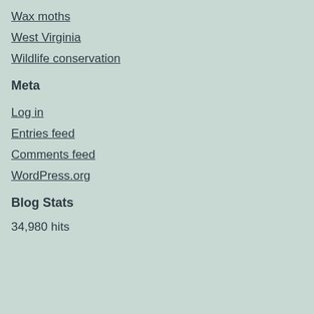Wax moths
West Virginia
Wildlife conservation
Meta
Log in
Entries feed
Comments feed
WordPress.org
Blog Stats
34,980 hits